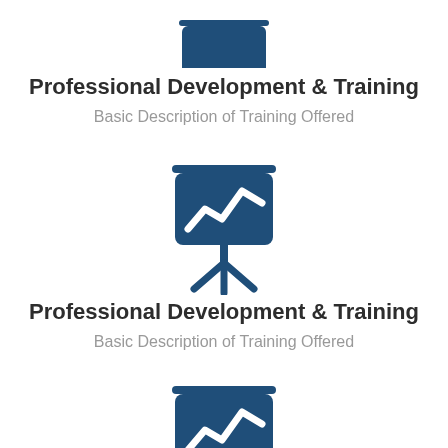[Figure (illustration): Dark blue presentation board icon on a tripod stand, shown partially at top of page (cropped)]
Professional Development & Training
Basic Description of Training Offered
[Figure (illustration): Dark blue presentation board icon with a line chart/trend arrow on it, on a tripod stand]
Professional Development & Training
Basic Description of Training Offered
[Figure (illustration): Dark blue presentation board icon with a line chart/trend arrow on it, on a tripod stand (partially cropped at bottom)]